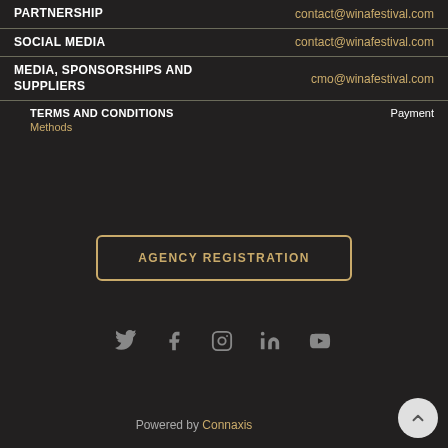PARTNERSHIP   contact@winafestival.com
SOCIAL MEDIA   contact@winafestival.com
MEDIA, SPONSORSHIPS AND SUPPLIERS   cmo@winafestival.com
TERMS AND CONDITIONS   Payment Methods
AGENCY REGISTRATION
[Figure (infographic): Social media icons: Twitter, Facebook, Instagram, LinkedIn, YouTube]
Powered by Connaxis